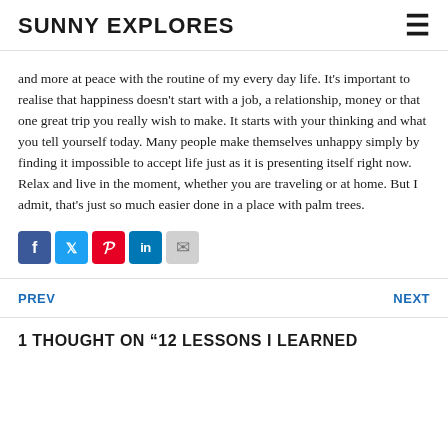SUNNY EXPLORES
and more at peace with the routine of my every day life. It’s important to realise that happiness doesn’t start with a job, a relationship, money or that one great trip you really wish to make. It starts with your thinking and what you tell yourself today. Many people make themselves unhappy simply by finding it impossible to accept life just as it is presenting itself right now. Relax and live in the moment, whether you are traveling or at home. But I admit, that’s just so much easier done in a place with palm trees.
[Figure (infographic): Social media sharing icons: Facebook, Twitter, Pinterest, LinkedIn, Email]
PREV
NEXT
1 THOUGHT ON “12 LESSONS I LEARNED